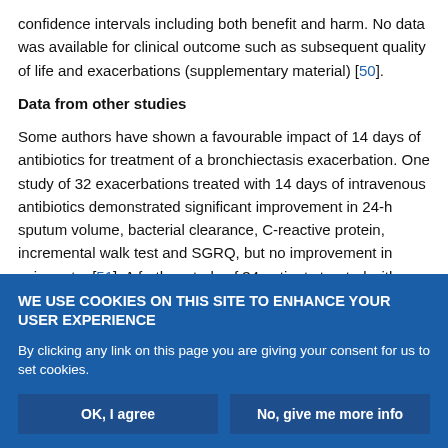confidence intervals including both benefit and harm. No data was available for clinical outcome such as subsequent quality of life and exacerbations (supplementary material) [50].
Data from other studies
Some authors have shown a favourable impact of 14 days of antibiotics for treatment of a bronchiectasis exacerbation. One study of 32 exacerbations treated with 14 days of intravenous antibiotics demonstrated significant improvement in 24-h sputum volume, bacterial clearance, C-reactive protein, incremental walk test and SGRQ, but no improvement in spirometry [51]. A further study of 34 patients treated with intravenous antibiotics for 14 days...
WE USE COOKIES ON THIS SITE TO ENHANCE YOUR USER EXPERIENCE
By clicking any link on this page you are giving your consent for us to set cookies.